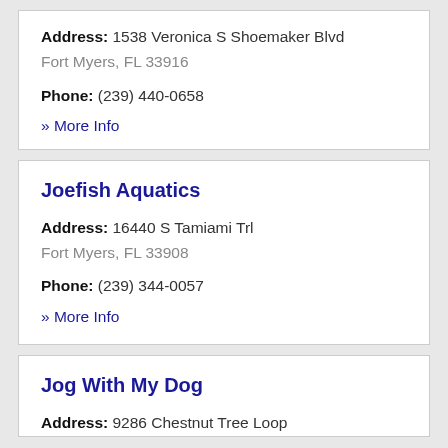Address: 1538 Veronica S Shoemaker Blvd Fort Myers, FL 33916
Phone: (239) 440-0658
» More Info
Joefish Aquatics
Address: 16440 S Tamiami Trl Fort Myers, FL 33908
Phone: (239) 344-0057
» More Info
Jog With My Dog
Address: 9286 Chestnut Tree Loop
Fort Myers, FL 33967